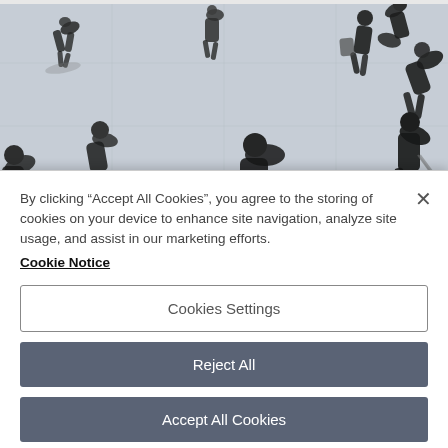[Figure (photo): Aerial/top-down view of people walking on a light-colored tiled floor, showing dark silhouettes of pedestrians from a bird's eye perspective, in black and white with slight blur/motion effect]
By clicking “Accept All Cookies”, you agree to the storing of cookies on your device to enhance site navigation, analyze site usage, and assist in our marketing efforts.
Cookie Notice
Cookies Settings
Reject All
Accept All Cookies